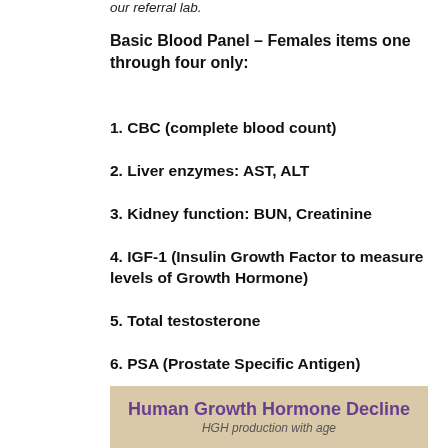our referral lab.
Basic Blood Panel – Females items one through four only:
1. CBC (complete blood count)
2. Liver enzymes: AST, ALT
3. Kidney function: BUN, Creatinine
4. IGF-1 (Insulin Growth Factor to measure levels of Growth Hormone)
5. Total testosterone
6. PSA (Prostate Specific Antigen)
[Figure (infographic): Human Growth Hormone Decline — HGH production with age banner with tan/beige background]